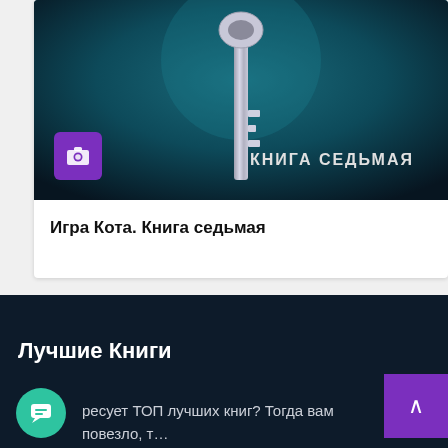[Figure (photo): Book cover for 'Игра Кота. Книга седьмая' — dark teal/navy background with an ornate silver key and text 'КНИГА СЕДЬМАЯ' at bottom right. A purple camera badge is overlaid at bottom left of the cover.]
Игра Кота. Книга седьмая
Лучшие Книги
ресует ТОП лучших книг? Тогда вам повезло, т… зашли на лучший сайт по скачиванию книг в форма…